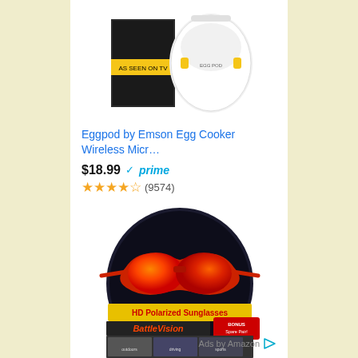[Figure (photo): Eggpod by Emson Egg Cooker product image showing a white egg-shaped device and its packaging box]
Eggpod by Emson Egg Cooker Wireless Micr…
$18.99 ✓prime
★★★★☆ (9574)
[Figure (photo): BattleVision Sunglasses HD Polarized Sunglasses product packaging showing colorful sporty sunglasses with BattleVision branding and Bonus Spare Pair label]
BattleVision Sunglasses As Seen on TV HD Polarize...
$24.99
★★★★☆ (874)
Ads by Amazon ▷